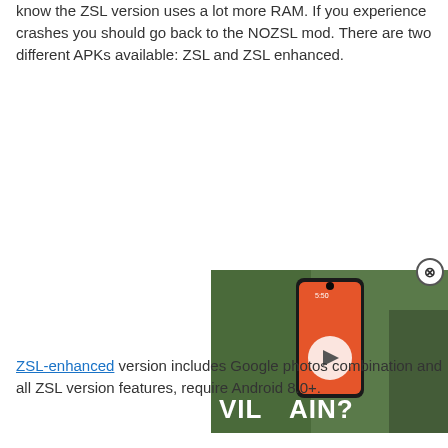know the ZSL version uses a lot more RAM. If you experience crashes you should go back to the NOZSL mod. There are two different APKs available: ZSL and ZSL enhanced.
[Figure (screenshot): Video overlay showing a smartphone with text 'VILLAIN?' and a play button, with a green background. A close button (X in circle) appears at the top right of the overlay.]
ZSL-enhanced version includes Google photos combination and all ZSL version features, require Android 8.0+.